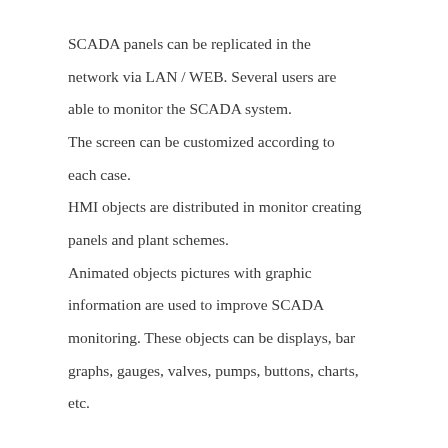SCADA panels can be replicated in the network via LAN / WEB. Several users are able to monitor the SCADA system. The screen can be customized according to each case. HMI objects are distributed in monitor creating panels and plant schemes. Animated objects pictures with graphic information are used to improve SCADA monitoring. These objects can be displays, bar graphs, gauges, valves, pumps, buttons, charts, etc.

Easier jobs with SCADA software.